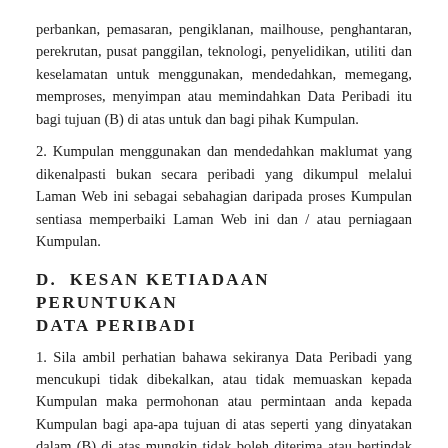perbankan, pemasaran, pengiklanan, mailhouse, penghantaran, perekrutan, pusat panggilan, teknologi, penyelidikan, utiliti dan keselamatan untuk menggunakan, mendedahkan, memegang, memproses, menyimpan atau memindahkan Data Peribadi itu bagi tujuan (B) di atas untuk dan bagi pihak Kumpulan.
2. Kumpulan menggunakan dan mendedahkan maklumat yang dikenalpasti bukan secara peribadi yang dikumpul melalui Laman Web ini sebagai sebahagian daripada proses Kumpulan sentiasa memperbaiki Laman Web ini dan / atau perniagaan Kumpulan.
D. KESAN KETIADAAN PERUNTUKAN DATA PERIBADI
1. Sila ambil perhatian bahawa sekiranya Data Peribadi yang mencukupi tidak dibekalkan, atau tidak memuaskan kepada Kumpulan maka permohonan atau permintaan anda kepada Kumpulan bagi apa-apa tujuan di atas seperti yang dinyatakan dalam (B) di atas mungkin tidak boleh diterima atau bertindak keatasnya atau permintaan anda untuk melayari beberapa maklumat dalam Laman Web ini mungkin akan dinafikan atau Kumpulan tidak akan dapat memberikan pelbagai jenis manfaat dan/atau perkhidmatan.